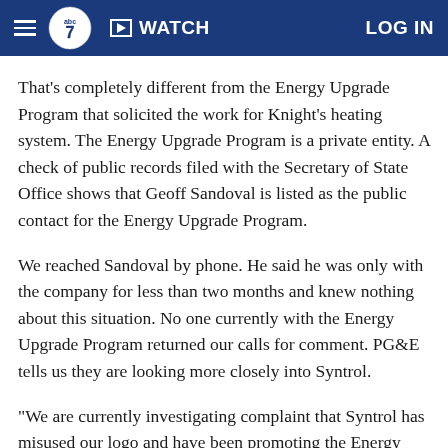ABC7 | WATCH | LOG IN
That's completely different from the Energy Upgrade Program that solicited the work for Knight's heating system. The Energy Upgrade Program is a private entity. A check of public records filed with the Secretary of State Office shows that Geoff Sandoval is listed as the public contact for the Energy Upgrade Program.
We reached Sandoval by phone. He said he was only with the company for less than two months and knew nothing about this situation. No one currently with the Energy Upgrade Program returned our calls for comment. PG&E tells us they are looking more closely into Syntrol.
"We are currently investigating complaint that Syntrol has misused our logo and have been promoting the Energy